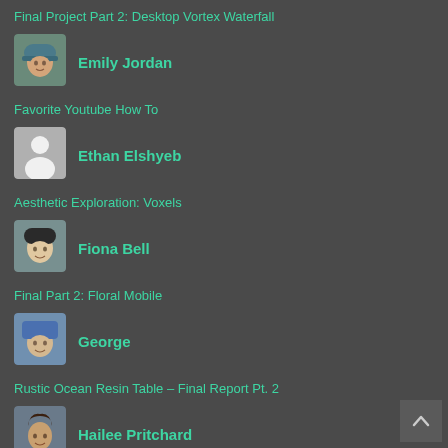Final Project Part 2: Desktop Vortex Waterfall
[Figure (photo): Photo of Emily Jordan wearing a blue helmet]
Emily Jordan
Favorite Youtube How To
[Figure (photo): Default grey silhouette avatar placeholder for Ethan Elshyeb]
Ethan Elshyeb
Aesthetic Exploration: Voxels
[Figure (photo): Photo of Fiona Bell wearing a black hat and snow gear]
Fiona Bell
Final Part 2: Floral Mobile
[Figure (photo): Photo of George wearing a blue shirt outdoors]
George
Rustic Ocean Resin Table – Final Report Pt. 2
[Figure (photo): Photo of Hailee Pritchard]
Hailee Pritchard